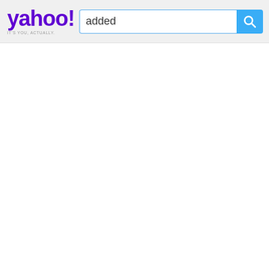[Figure (screenshot): Yahoo! logo in purple with tagline text below]
added
[Figure (other): Blue search button with white magnifying glass icon]